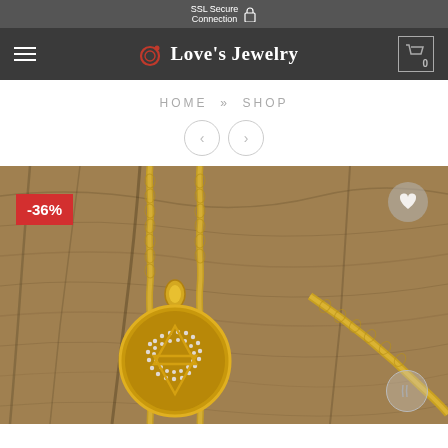SSL Secure Connection
[Figure (logo): Love's Jewelry logo with ring icon and navigation bar]
HOME » SHOP
[Figure (photo): Gold Star of David pendant necklace with diamond crystals on wooden background, showing -36% discount badge]